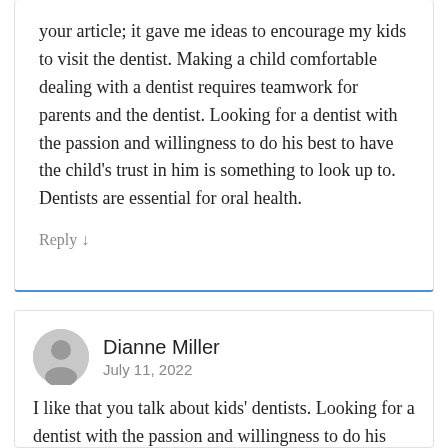your article; it gave me ideas to encourage my kids to visit the dentist. Making a child comfortable dealing with a dentist requires teamwork for parents and the dentist. Looking for a dentist with the passion and willingness to do his best to have the child's trust in him is something to look up to. Dentists are essential for oral health.
Reply ↓
Dianne Miller
July 11, 2022
I like that you talk about kids' dentists. Looking for a dentist with the passion and willingness to do his best to have the child's trust in him is something to look up to. As we all know, some children are afraid of the dentist. Bringing them to a dentist is a challenge as a parent. I liked reading your article; it gave me ideas to